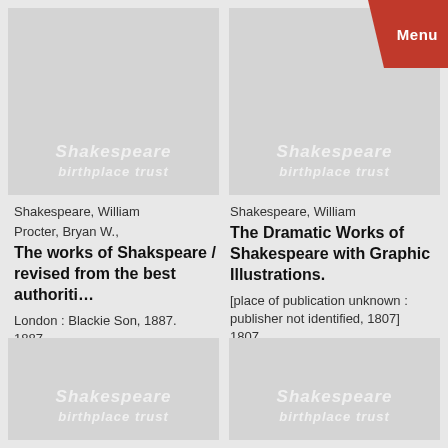[Figure (illustration): Top-left placeholder image with Shakespeare Birthplace Trust watermark]
[Figure (illustration): Top-right placeholder image with Shakespeare Birthplace Trust watermark and Menu button overlay]
Shakespeare, William
Procter, Bryan W.,
The works of Shakspeare / revised from the best authoriti…
London : Blackie Son, 1887.
1887
Shakespeare, William
The Dramatic Works of Shakespeare with Graphic Illustrations.
[place of publication unknown : publisher not identified, 1807]
1807
[Figure (illustration): Bottom-left placeholder image with Shakespeare Birthplace Trust watermark]
[Figure (illustration): Bottom-right placeholder image with Shakespeare Birthplace Trust watermark]